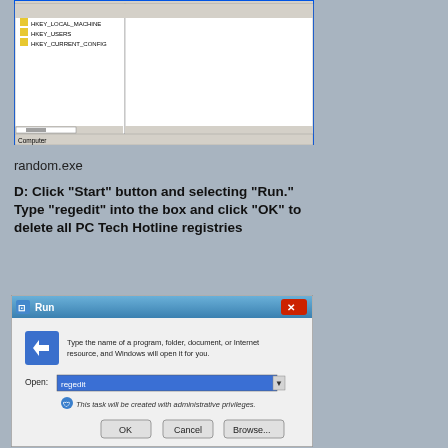[Figure (screenshot): Windows Registry Editor showing HKEY_USERS and HKEY_CURRENT_CONFIG entries in the left panel, with empty right panel and 'Computer' label at bottom left.]
random.exe
D: Click “Start” button and selecting “Run.” Type “regedit” into the box and click “OK” to delete all PC Tech Hotline registries
[Figure (screenshot): Windows Run dialog box with 'regedit' typed in the Open field, showing OK, Cancel, and Browse buttons, and a note about administrative privileges.]